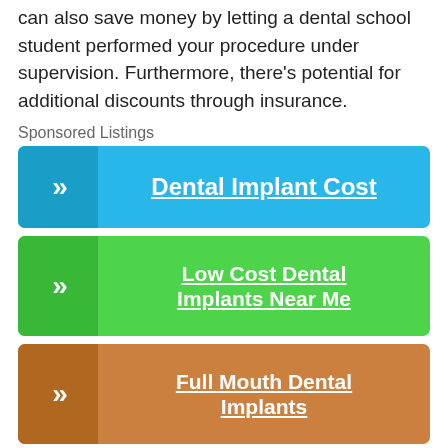can also save money by letting a dental school student performed your procedure under supervision. Furthermore, there's potential for additional discounts through insurance.
Sponsored Listings
[Figure (infographic): Blue ad button with chevron icon and text 'Dental Implant Cost']
[Figure (infographic): Green ad button with chevron icon and text 'Low Cost Dental Implants Near Me']
[Figure (infographic): Orange ad button with chevron icon and text 'Full Mouth Dental Implants']
[Figure (infographic): Purple/magenta ad button with chevron icon and text 'Dental Implant Pricing' (partially visible)]